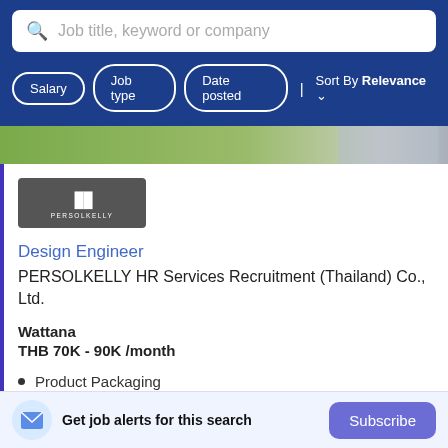[Figure (screenshot): Search bar with placeholder text 'Job title, keyword or company' on dark blue background]
Salary
Job type
Date posted
Sort By Relevance
[Figure (photo): Partial photo of person outdoors with green background]
[Figure (logo): PERSOLKELLY company logo on dark grey background]
Design Engineer
PERSOLKELLY HR Services Recruitment (Thailand) Co., Ltd.
Wattana
THB 70K - 90K /month
Product Packaging
Get job alerts for this search
Subscribe